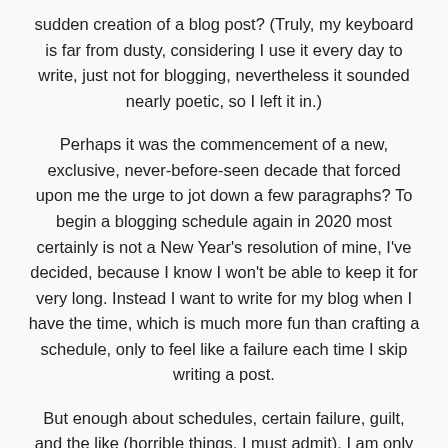sudden creation of a blog post? (Truly, my keyboard is far from dusty, considering I use it every day to write, just not for blogging, nevertheless it sounded nearly poetic, so I left it in.)
Perhaps it was the commencement of a new, exclusive, never-before-seen decade that forced upon me the urge to jot down a few paragraphs? To begin a blogging schedule again in 2020 most certainly is not a New Year's resolution of mine, I've decided, because I know I won't be able to keep it for very long. Instead I want to write for my blog when I have the time, which is much more fun than crafting a schedule, only to feel like a failure each time I skip writing a post.
But enough about schedules, certain failure, guilt, and the like (horrible things, I must admit). I am only here using up your precious time (technically this is your own fault for clicking on this and I am not to blame, but I do thank you for reading, assuredly), to make myself known as not dead, but alive, contrary perhaps to what was once believed after I abruptly dropped off